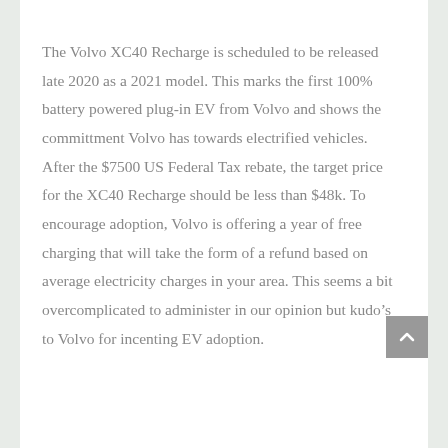The Volvo XC40 Recharge is scheduled to be released late 2020 as a 2021 model. This marks the first 100% battery powered plug-in EV from Volvo and shows the committment Volvo has towards electrified vehicles. After the $7500 US Federal Tax rebate, the target price for the XC40 Recharge should be less than $48k. To encourage adoption, Volvo is offering a year of free charging that will take the form of a refund based on average electricity charges in your area. This seems a bit overcomplicated to administer in our opinion but kudo’s to Volvo for incenting EV adoption.